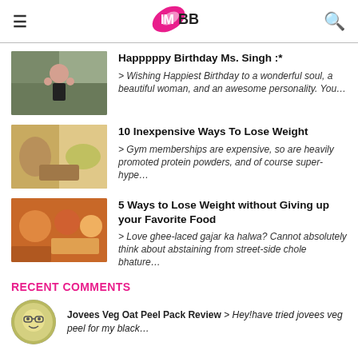IMBB
[Figure (illustration): Thumbnail of a woman making heart gesture with hands]
Happpppy Birthday Ms. Singh :*
> Wishing Happiest Birthday to a wonderful soul, a beautiful woman, and an awesome personality. You…
[Figure (photo): Thumbnail of weight loss related foods]
10 Inexpensive Ways To Lose Weight
> Gym memberships are expensive, so are heavily promoted protein powders, and of course super-hype…
[Figure (photo): Thumbnail of Indian food]
5 Ways to Lose Weight without Giving up your Favorite Food
> Love ghee-laced gajar ka halwa? Cannot absolutely think about abstaining from street-side chole bhature…
RECENT COMMENTS
[Figure (illustration): Avatar icon with glasses smiley]
Jovees Veg Oat Peel Pack Review > Hey!have tried jovees veg peel for my black…